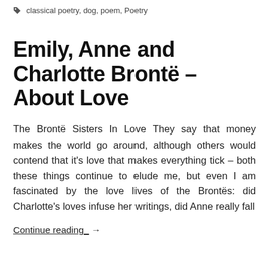classical poetry, dog, poem, Poetry
Emily, Anne and Charlotte Brontë – About Love
The Brontë Sisters In Love They say that money makes the world go around, although others would contend that it's love that makes everything tick – both these things continue to elude me, but even I am fascinated by the love lives of the Brontës: did Charlotte's loves infuse her writings, did Anne really fall
Continue reading  →